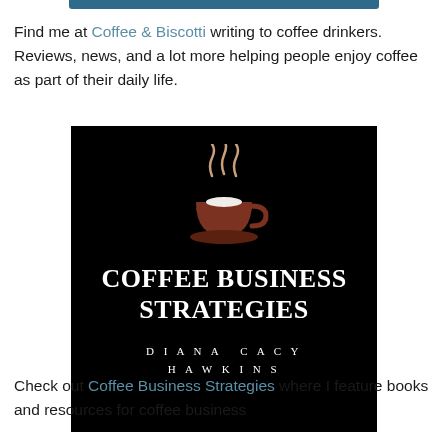Find me at Coffee & Biscotti writing to coffee drinkers. Reviews, news, and a lot more helping people enjoy coffee as part of their daily life.
[Figure (illustration): Book cover for 'Coffee Business Strategies' by Diana Cacy Hawkins. Black background with a brown steaming coffee cup logo at the top, title text in white serif font, and author name in white spaced-letter serif font.]
Check out Coffee Business Strategies where I feature books and resources for coffee business professionals.